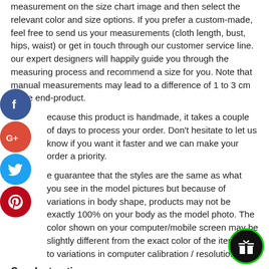measurement on the size chart image and then select the relevant color and size options. If you prefer a custom-made, feel free to send us your measurements (cloth length, bust, hips, waist) or get in touch through our customer service line. our expert designers will happily guide you through the measuring process and recommend a size for you. Note that manual measurements may lead to a difference of 1 to 3 cm in the end-product.
Because this product is handmade, it takes a couple of days to process your order. Don't hesitate to let us know if you want it faster and we can make your order a priority.
We guarantee that the styles are the same as what you see in the model pictures but because of variations in body shape, products may not be exactly 100% on your body as the model photo. The color shown on your computer/mobile screen may be slightly different from the exact color of the item due to variations in computer calibration / resolution.
Care Instruction:
Hand wash separately with mild detergent in cold/lukewarm water. Rinse thoroughly. Do not bleach. Hang to dry.